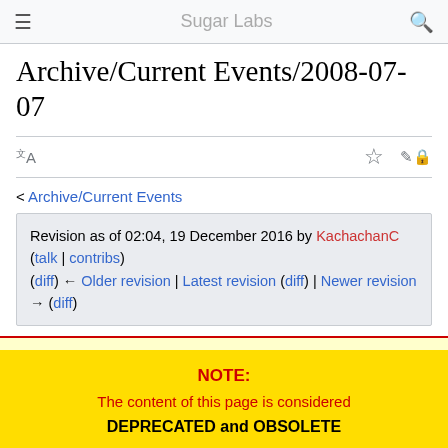Sugar Labs
Archive/Current Events/2008-07-07
< Archive/Current Events
Revision as of 02:04, 19 December 2016 by KachachanC (talk | contribs)
(diff) ← Older revision | Latest revision (diff) | Newer revision → (diff)
NOTE:
The content of this page is considered
DEPRECATED and OBSOLETE